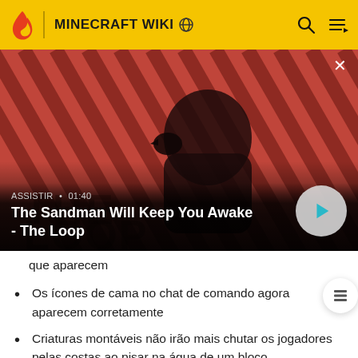MINECRAFT WIKI
[Figure (screenshot): Video thumbnail showing a dark-clad figure with a raven on their shoulder against a red diagonal-striped background, with text overlay 'ASSISTIR • 01:40' and title 'The Sandman Will Keep You Awake - The Loop' with a play button]
que aparecem
Os ícones de cama no chat de comando agora aparecem corretamente
Criaturas montáveis não irão mais chutar os jogadores pelas costas ao pisar na água de um bloco